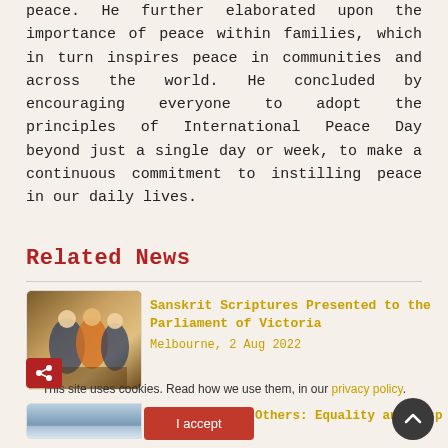peace. He further elaborated upon the importance of peace within families, which in turn inspires peace in communities and across the world. He concluded by encouraging everyone to adopt the principles of International Peace Day beyond just a single day or week, to make a continuous commitment to instilling peace in our daily lives.
Related News
[Figure (photo): Photo of people (men in suits and orange robes) in a formal setting, likely a parliament or meeting room]
Sanskrit Scriptures Presented to the Parliament of Victoria
Melbourne, 2 Aug 2022
[Figure (photo): Partially visible blue-toned photo, second news item]
In the Joy of Others: Equality and Respect
This site uses cookies. Read how we use them, in our privacy policy.